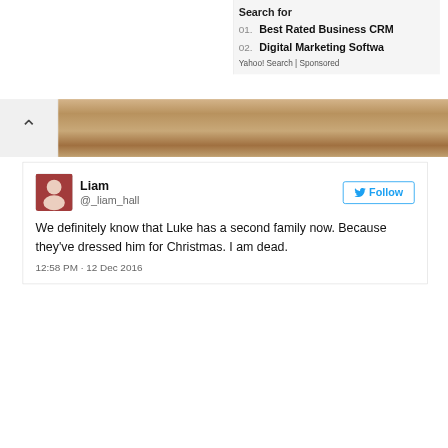Search for
01. Best Rated Business CRM
02. Digital Marketing Software
Yahoo! Search | Sponsored
[Figure (photo): Wood surface / floor background image]
Liam @_liam_hall
Follow
We definitely know that Luke has a second family now. Because they've dressed him for Christmas. I am dead.
12:58 PM - 12 Dec 2016
Share this pic:
f SHARE
Tweet